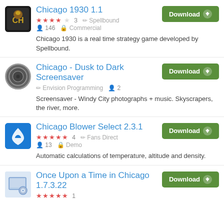Chicago 1930 1.1 — ★★★★☆ 3 | Spellbound | 146 | Commercial — Chicago 1930 is a real time strategy game developed by Spellbound.
Chicago - Dusk to Dark Screensaver — Envision Programming | 2 — Screensaver - Windy City photographs + music. Skyscrapers, the river, more.
Chicago Blower Select 2.3.1 — ★★★★★ 4 | Fans Direct | 13 | Demo — Automatic calculations of temperature, altitude and density.
Once Upon a Time in Chicago 1.7.3.22 — ★★★★★ 1